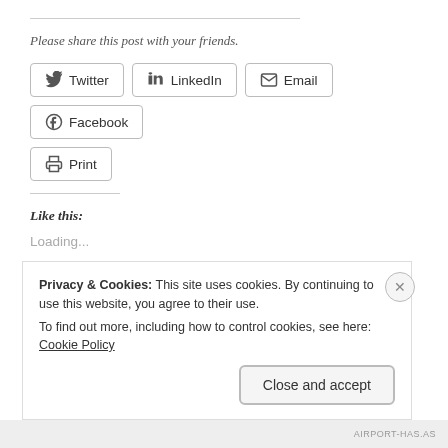Please share this post with your friends.
[Figure (screenshot): Social share buttons: Twitter, LinkedIn, Email, Facebook, Print]
Like this:
Loading...
Privacy & Cookies: This site uses cookies. By continuing to use this website, you agree to their use.
To find out more, including how to control cookies, see here: Cookie Policy
Close and accept